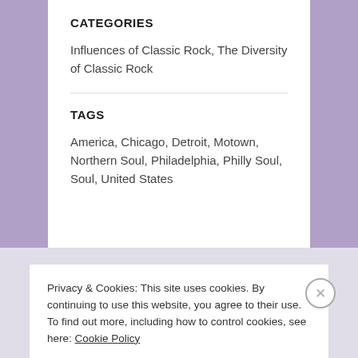CATEGORIES
Influences of Classic Rock, The Diversity of Classic Rock
TAGS
America, Chicago, Detroit, Motown, Northern Soul, Philadelphia, Philly Soul, Soul, United States
Privacy & Cookies: This site uses cookies. By continuing to use this website, you agree to their use.
To find out more, including how to control cookies, see here: Cookie Policy